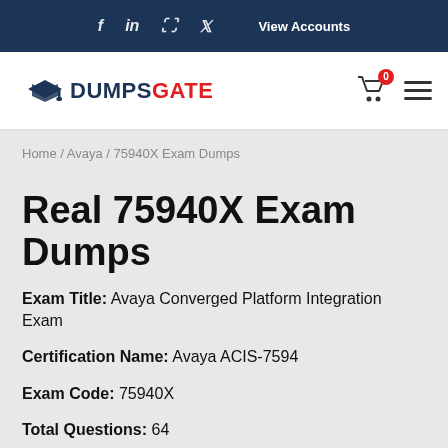f  in  p  t  View Accounts
[Figure (logo): DumpsGate logo with graduation cap icon, shopping cart with badge 0, and hamburger menu]
Home / Avaya / 75940X Exam Dumps
Real 75940X Exam Dumps
Exam Title: Avaya Converged Platform Integration Exam
Certification Name: Avaya ACIS-7594
Exam Code: 75940X
Total Questions: 64